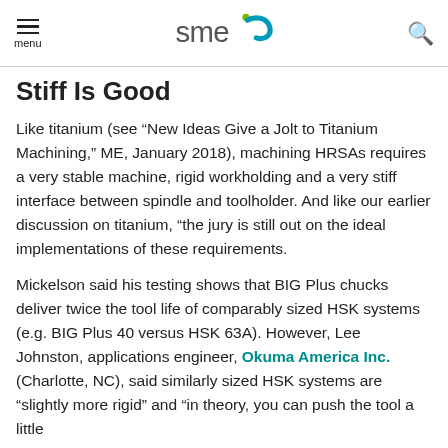SME — menu / logo / search
Stiff Is Good
Like titanium (see “New Ideas Give a Jolt to Titanium Machining,” ME, January 2018), machining HRSAs requires a very stable machine, rigid workholding and a very stiff interface between spindle and toolholder. And like our earlier discussion on titanium, “the jury is still out on the ideal implementations of these requirements.
Mickelson said his testing shows that BIG Plus chucks deliver twice the tool life of comparably sized HSK systems (e.g. BIG Plus 40 versus HSK 63A). However, Lee Johnston, applications engineer, Okuma America Inc. (Charlotte, NC), said similarly sized HSK systems are “slightly more rigid” and “in theory, you can push the tool a little